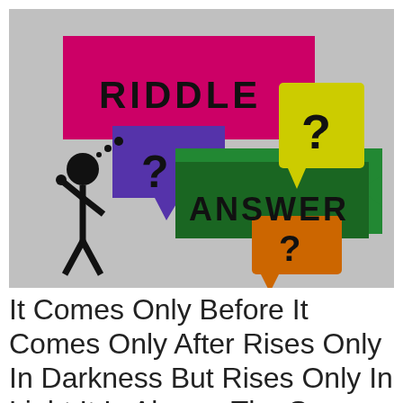[Figure (illustration): Colorful illustration with speech bubble shapes in pink/magenta, purple, green, yellow, and orange. Text 'RIDDLE' on a pink speech bubble and 'ANSWER' on a green speech bubble. Question mark symbols on purple, yellow, and orange shapes. A black stick figure person on the left side scratching their head.]
It Comes Only Before It Comes Only After Rises Only In Darkness But Rises Only In Light It Is Always The Same